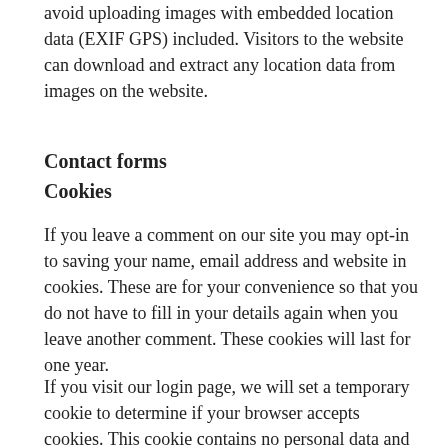avoid uploading images with embedded location data (EXIF GPS) included. Visitors to the website can download and extract any location data from images on the website.
Contact forms
Cookies
If you leave a comment on our site you may opt-in to saving your name, email address and website in cookies. These are for your convenience so that you do not have to fill in your details again when you leave another comment. These cookies will last for one year.
If you visit our login page, we will set a temporary cookie to determine if your browser accepts cookies. This cookie contains no personal data and is discarded when you close your browser.